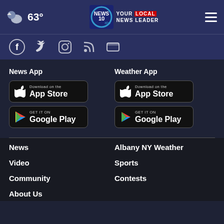63° | NEWS 10 YOUR LOCAL NEWS LEADER
[Figure (screenshot): Social media icon buttons row: Facebook, Twitter, Instagram, RSS, and another icon]
News App
[Figure (screenshot): Download on the App Store button (black)]
[Figure (screenshot): Get it on Google Play button (black)]
Weather App
[Figure (screenshot): Download on the App Store button (black)]
[Figure (screenshot): Get it on Google Play button (black)]
News
Albany NY Weather
Video
Sports
Community
Contests
About Us